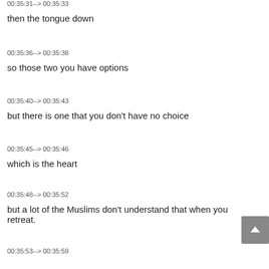00:35:31--> 00:35:33
then the tongue down
00:35:36--> 00:35:38
so those two you have options
00:35:40--> 00:35:43
but there is one that you don't have no choice
00:35:45--> 00:35:46
which is the heart
00:35:48--> 00:35:52
but a lot of the Muslims don't understand that when you retreat.
00:35:53--> 00:35:59